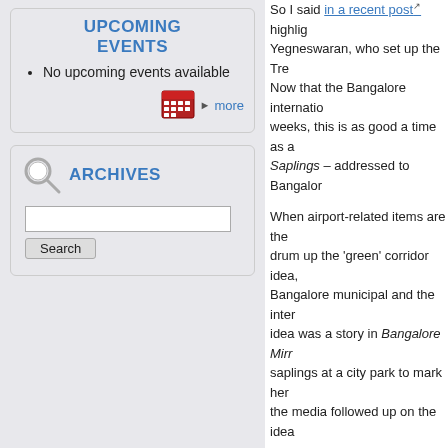UPCOMING EVENTS
No upcoming events available
ARCHIVES
So I said in a recent post highlighting Janet Yegneswaran, who set up the Tree-for-Free initiative. Now that the Bangalore international airport opens in weeks, this is as good a time as a... Saplings – addressed to Bangalore...
When airport-related items are the theme, she plans to drum up the 'green' corridor idea. By working with Bangalore municipal and the international airport. The idea was a story in Bangalore Mir... saplings at a city park to mark her... the media followed up on the idea.
This is the time for the Tree-for-Fr... open stretches along the road to D... authorities and landowners to plan... initiative. Janet has been engaged... interest groups to chip in their bit i... cover. Janet's trust arranges to pla... special occasions such as birthday... admission, job placement or what...
The media report on the California... gesture on leaving Bangalore evo... sponsor saplings. Sunil Khanduja... support of the initiative of the Tree...
But then the initial spurt in public...